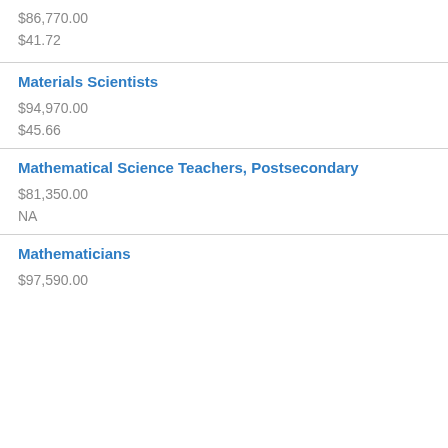$86,770.00
$41.72
Materials Scientists
$94,970.00
$45.66
Mathematical Science Teachers, Postsecondary
$81,350.00
NA
Mathematicians
$97,590.00